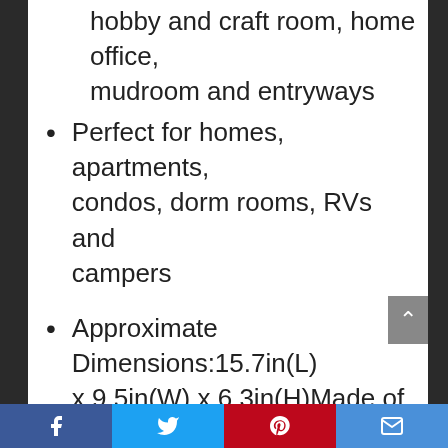hobby and craft room, home office, mudroom and entryways
Perfect for homes, apartments, condos, dorm rooms, RVs and campers
Approximate Dimensions:15.7in(L) x 9.5in(W) x 6.3in(H)Made of strong steel wire with a durable rust-resistant white coat
Easy Care – Wipe clean with damp cloth
2 YEAR GUARANTEE – If you aren't happy with your purchase for any reason we promise to make it right!